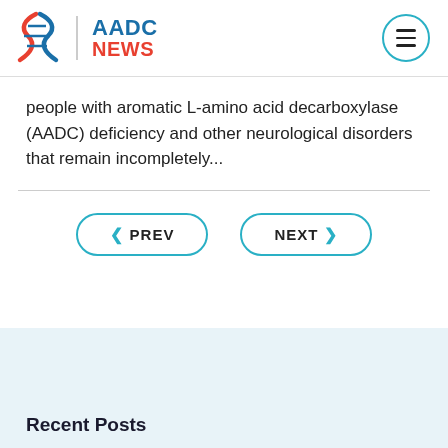AADC NEWS
people with aromatic L-amino acid decarboxylase (AADC) deficiency and other neurological disorders that remain incompletely...
< PREV    NEXT >
Recent Posts